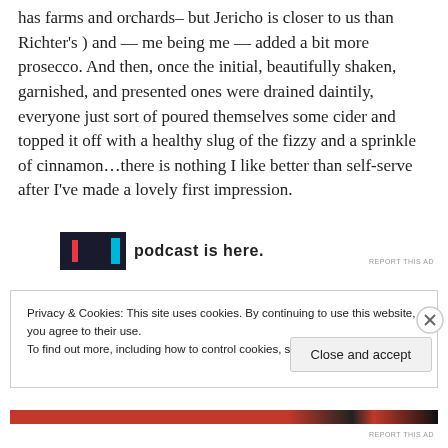has farms and orchards– but Jericho is closer to us than Richter's ) and — me being me — added a bit more prosecco. And then, once the initial, beautifully shaken, garnished, and presented ones were drained daintily, everyone just sort of poured themselves some cider and topped it off with a healthy slug of the fizzy and a sprinkle of cinnamon…there is nothing I like better than self-serve after I've made a lovely first impression.
[Figure (other): Partial advertisement banner with a dark thumbnail image and bold text reading 'podcast is here.']
REPORT THIS AD
Privacy & Cookies: This site uses cookies. By continuing to use this website, you agree to their use.
To find out more, including how to control cookies, see here: Cookie Policy
Close and accept